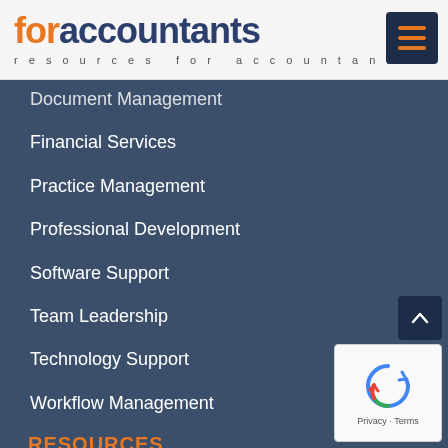foraccountants resources for accountants
Document Management
Financial Services
Practice Management
Professional Development
Software Support
Team Leadership
Technology Support
Workflow Management
RESOURCES
Directory